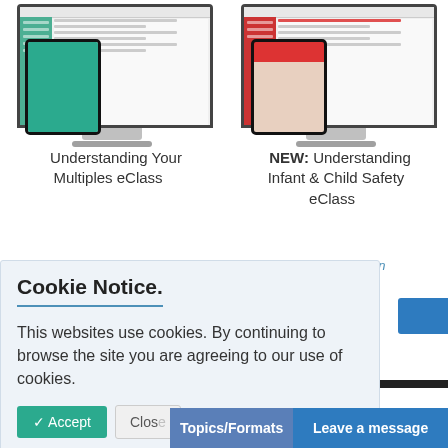[Figure (screenshot): Screenshot of 'Understanding Your Multiples eClass' on monitor with tablet overlay showing green screen]
[Figure (screenshot): Screenshot of 'NEW: Understanding Infant & Child Safety eClass' on monitor with tablet overlay showing red/white content]
Understanding Your Multiples eClass
NEW: Understanding Infant & Child Safety eClass
Online Education
Online Education
Cookie Notice.
This websites use cookies. By continuing to browse the site you are agreeing to our use of cookies.
✓ Accept
Close
Topics/Formats
Leave a message